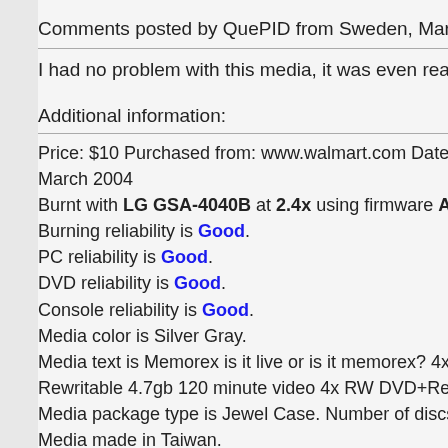Comments posted by QuePID from Sweden, March 1
I had no problem with this media, it was even ready b
Additional information:
Price: $10 Purchased from: www.walmart.com Date p
March 2004
Burnt with LG GSA-4040B at 2.4x using firmware A3C
Burning reliability is Good.
PC reliability is Good.
DVD reliability is Good.
Console reliability is Good.
Media color is Silver Gray.
Media text is Memorex is it live or is it memorex? 4x b
Rewritable 4.7gb 120 minute video 4x RW DVD+ReWr
Media package type is Jewel Case. Number of discs 3
Media made in Taiwan.
Media UPC/EAN code is 034707055605.
Authoring/Burning comments:
Authored with NeroVision Express 2.1.0.8 and burned
6.3.0.3